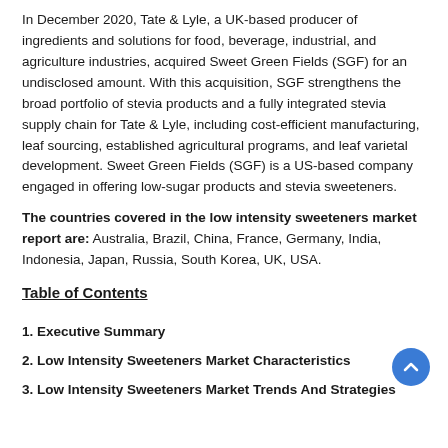In December 2020, Tate & Lyle, a UK-based producer of ingredients and solutions for food, beverage, industrial, and agriculture industries, acquired Sweet Green Fields (SGF) for an undisclosed amount. With this acquisition, SGF strengthens the broad portfolio of stevia products and a fully integrated stevia supply chain for Tate & Lyle, including cost-efficient manufacturing, leaf sourcing, established agricultural programs, and leaf varietal development. Sweet Green Fields (SGF) is a US-based company engaged in offering low-sugar products and stevia sweeteners.
The countries covered in the low intensity sweeteners market report are: Australia, Brazil, China, France, Germany, India, Indonesia, Japan, Russia, South Korea, UK, USA.
Table of Contents
1. Executive Summary
2. Low Intensity Sweeteners Market Characteristics
3. Low Intensity Sweeteners Market Trends And Strategies